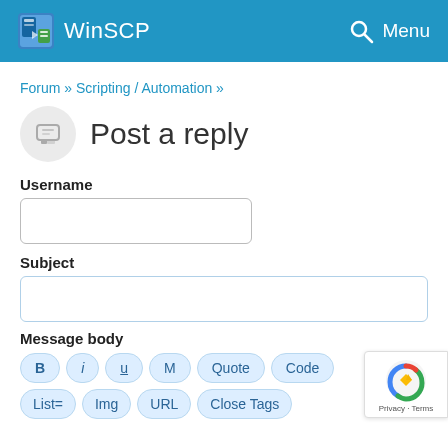WinSCP  Menu
Forum » Scripting / Automation »
Post a reply
Username
Subject
Message body
B  /  u  M  Quote  Code
List=  Img  URL  Close Tags